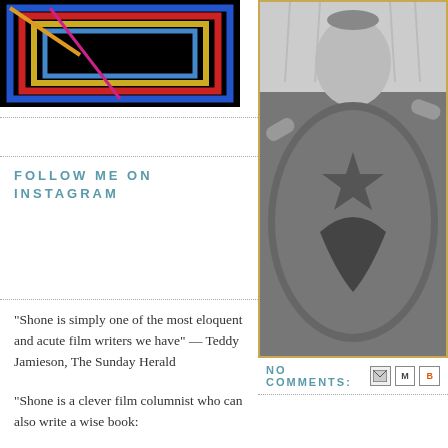[Figure (illustration): Colorful geometric concentric rectangles on black background — abstract art image]
FOLLOW ME ON INSTAGRAM
"Shone is simply one of the most eloquent and acute film writers we have" — Teddy Jamieson, The Sunday Herald
"Shone is a clever film columnist who can also write a wise book:
[Figure (photo): Black and white photo of a person in a superhero costume holding a shield with a star emblem]
NO COMMENTS: